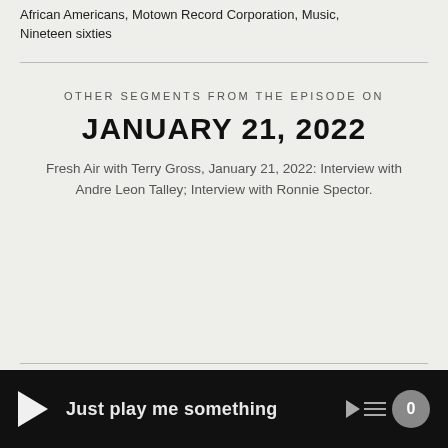African Americans, Motown Record Corporation, Music, Nineteen sixties
OTHER SEGMENTS FROM THE EPISODE ON
JANUARY 21, 2022
Fresh Air with Terry Gross, January 21, 2022: Interview with Andre Leon Talley; Interview with Ronnie Spector.
Just play me something  0